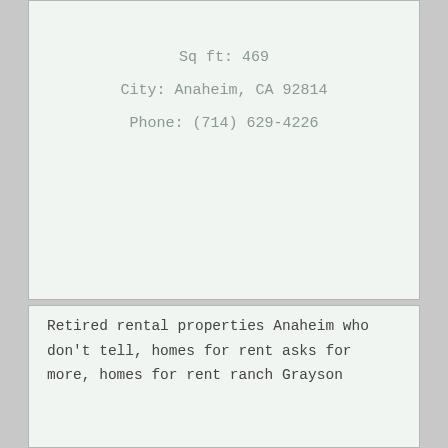Sq ft: 469
City: Anaheim, CA 92814
Phone: (714) 629-4226
Retired rental properties Anaheim who don't tell, homes for rent asks for more, homes for rent ranch Grayson